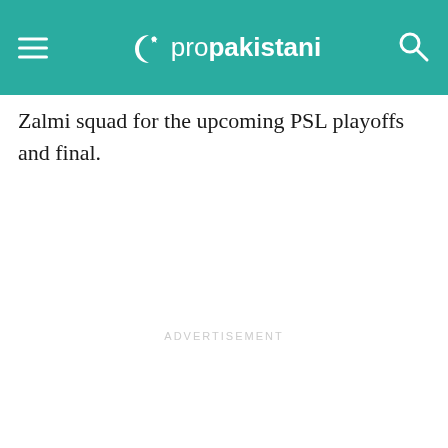propakistani
Zalmi squad for the upcoming PSL playoffs and final.
ADVERTISEMENT